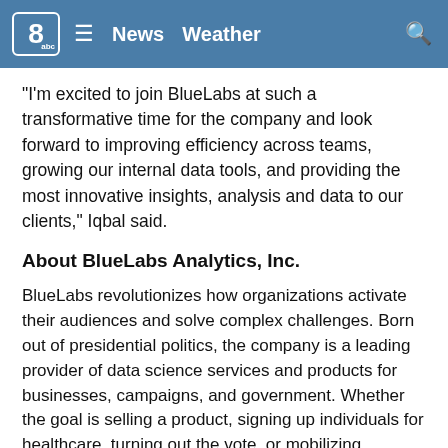8abc  ≡  News  Weather  🔍
"I'm excited to join BlueLabs at such a transformative time for the company and look forward to improving efficiency across teams, growing our internal data tools, and providing the most innovative insights, analysis and data to our clients," Iqbal said.
About BlueLabs Analytics, Inc.
BlueLabs revolutionizes how organizations activate their audiences and solve complex challenges. Born out of presidential politics, the company is a leading provider of data science services and products for businesses, campaigns, and government. Whether the goal is selling a product, signing up individuals for healthcare, turning out the vote, or mobilizing activists and donors, BlueLabs digs deep into the data to help its clients drive radically better results.